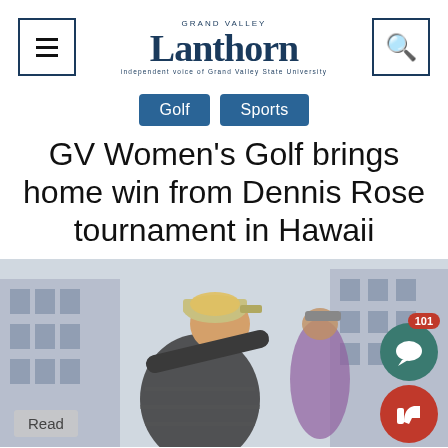Lanthorn
Golf
Sports
GV Women's Golf brings home win from Dennis Rose tournament in Hawaii
[Figure (photo): Female golfer mid-swing wearing a striped shirt and cap, with apartment buildings in the background]